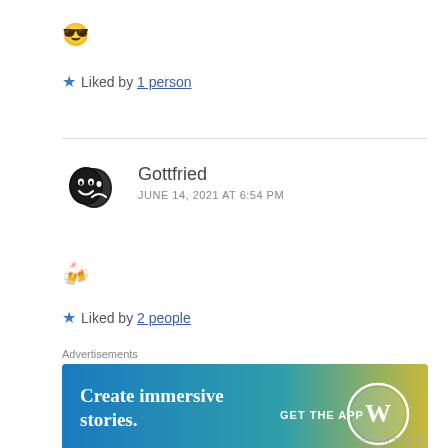😎
★ Liked by 1 person
[Figure (other): Theater masks avatar icon for user Gottfried]
Gottfried
JUNE 14, 2021 AT 6:54 PM
👥
★ Liked by 2 people
Advertisements
[Figure (other): WordPress app advertisement banner: 'Create immersive stories. GET THE APP' with WordPress logo, blue-to-teal gradient background]